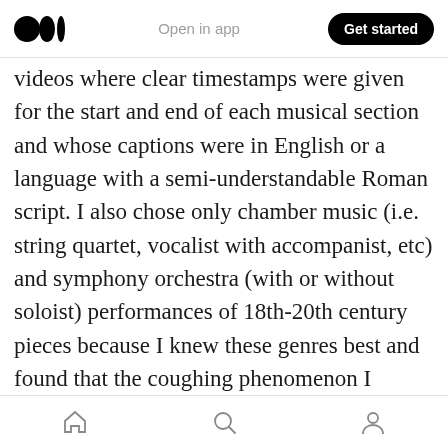Medium logo | Open in app | Get started
videos where clear timestamps were given for the start and end of each musical section and whose captions were in English or a language with a semi-understandable Roman script. I also chose only chamber music (i.e. string quartet, vocalist with accompanist, etc) and symphony orchestra (with or without soloist) performances of 18th-20th century pieces because I knew these genres best and found that the coughing phenomenon I described was most easily detectable in these examples. This is important for my research question because there may have been many
Home | Search | Profile